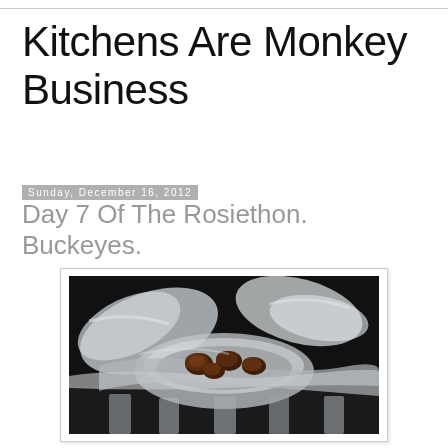Kitchens Are Monkey Business
Kitchens Are Monkey Business
Sunday, December 16, 2012
Day 7 Of The Rosiethon. Buckeyes.
[Figure (photo): Dark background photo showing chocolate buckeye candies in a silver/metallic bowl or ribbon arrangement, decorative holiday setting]